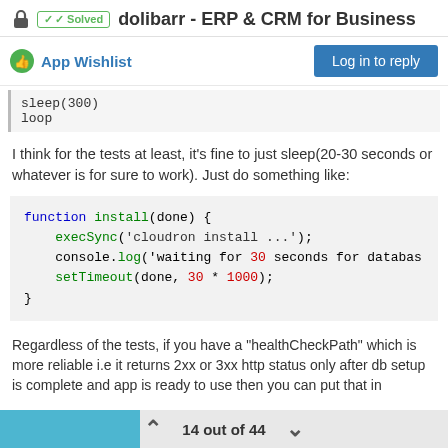Solved  dolibarr - ERP & CRM for Business
App Wishlist
Log in to reply
sleep(300)
loop
I think for the tests at least, it's fine to just sleep(20-30 seconds or whatever is for sure to work). Just do something like:
function install(done) {
    execSync('cloudron install ...');
    console.log('waiting for 30 seconds for databas
    setTimeout(done, 30 * 1000);
}
Regardless of the tests, if you have a "healthCheckPath" which is more reliable i.e it returns 2xx or 3xx http status only after db setup is complete and app is ready to use then you can put that in
14 out of 44